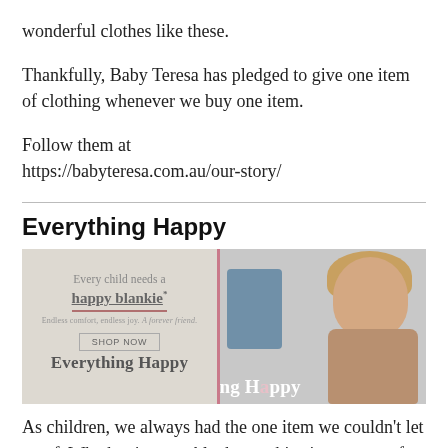wonderful clothes like these.
Thankfully, Baby Teresa has pledged to give one item of clothing whenever we buy one item.
Follow them at https://babyteresa.com.au/our-story/
Everything Happy
[Figure (illustration): Advertisement banner for Everything Happy brand showing text 'Every child needs a happy blankie*' with tagline 'Endless comfort, endless joy. A forever friend.' and a SHOP NOW button on the left, and a photo of a young blonde toddler child on the right. The brand name 'Everything Happy' appears at the bottom.]
As children, we always had the one item we couldn't let go of. Whether it was a blanket, a shirt, it was part of our identity.